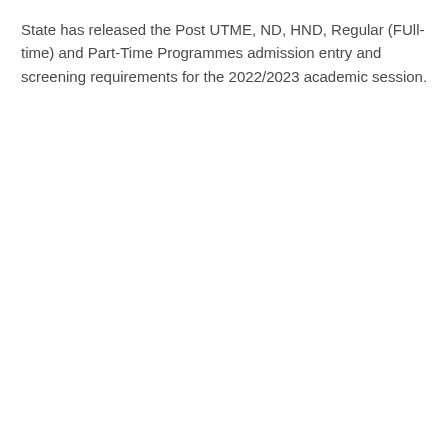State has released the Post UTME, ND, HND, Regular (FUll-time) and Part-Time Programmes admission entry and screening requirements for the 2022/2023 academic session.